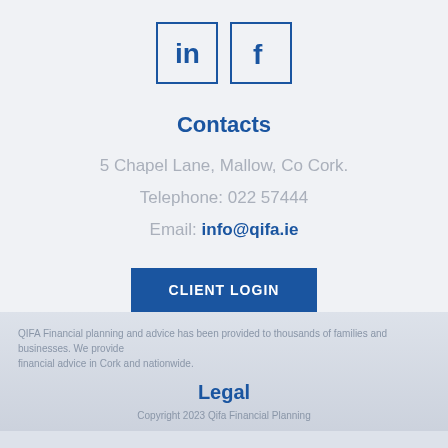[Figure (logo): LinkedIn and Facebook social media icon boxes with blue borders and icons]
Contacts
5 Chapel Lane, Mallow, Co Cork.
Telephone: 022 57444
Email: info@qifa.ie
CLIENT LOGIN
QIFA Financial planning and advice has been provided to thousands of families and businesses. We provide financial advice in Cork and nationwide.
Legal
Copyright 2023 Qifa Financial Planning